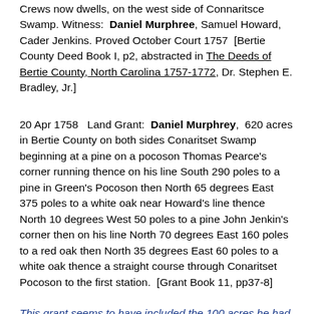Crews now dwells, on the west side of Connaritsce Swamp. Witness: Daniel Murphree, Samuel Howard, Cader Jenkins. Proved October Court 1757 [Bertie County Deed Book I, p2, abstracted in The Deeds of Bertie County, North Carolina 1757-1772, Dr. Stephen E. Bradley, Jr.]
20 Apr 1758   Land Grant:  Daniel Murphrey,  620 acres in Bertie County on both sides Conaritset Swamp beginning at a pine on a pocoson Thomas Pearce's corner running thence on his line South 290 poles to a pine in Green's Pocoson then North 65 degrees East 375 poles to a white oak near Howard's line thence North 10 degrees West 50 poles to a pine John Jenkin's corner then on his line North 70 degrees East 160 poles to a red oak then North 35 degrees East 60 poles to a white oak thence a straight course through Conaritset Pocoson to the first station.  [Grant Book 11, pp37-8]
This grant seems to have included the 100 acres he had bought from Williams in 1750.  The land was on both sides of the